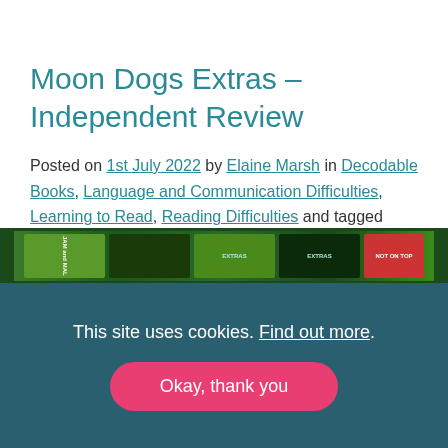Moon Dogs Extras – Independent Review
Posted on 1st July 2022 by Elaine Marsh in Decodable Books, Language and Communication Difficulties, Learning to Read, Reading Difficulties and tagged decodable books for SEN children, reading intervention, reading with SEN pupils, struggling readers Leave a Comment
[Figure (photo): Partial view of Moon Dogs Extras book spines with green and dark covers]
This site uses cookies. Find out more.
Okay, thank you